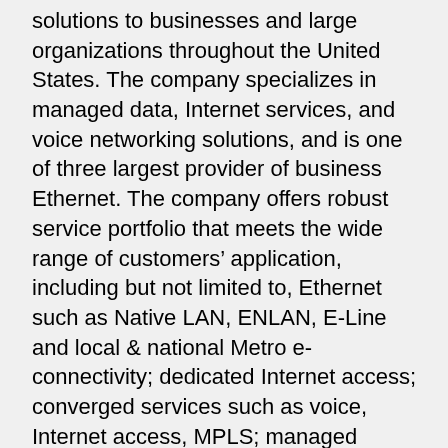solutions to businesses and large organizations throughout the United States. The company specializes in managed data, Internet services, and voice networking solutions, and is one of three largest provider of business Ethernet. The company offers robust service portfolio that meets the wide range of customers' application, including but not limited to, Ethernet such as Native LAN, ENLAN, E-Line and local & national Metro e-connectivity; dedicated Internet access; converged services such as voice, Internet access, MPLS; managed router; transport such as DSx, OCx, Wavelength 2.5 G and 10 G; colocation; voice T1; and SIP Trunking services.
tw telecom's voice services provide customers with local and long distance calling capabilities. The company owns, manages and maintains the switches to provide these services. Its voice services can be provisioned over TDM or as Voice over Internet Protocol (VoIP) and include access trunks, long distance service, local toll service,